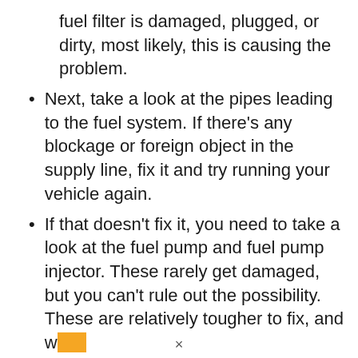fuel filter is damaged, plugged, or dirty, most likely, this is causing the problem.
Next, take a look at the pipes leading to the fuel system. If there's any blockage or foreign object in the supply line, fix it and try running your vehicle again.
If that doesn't fix it, you need to take a look at the fuel pump and fuel pump injector. These rarely get damaged, but you can't rule out the possibility. These are relatively tougher to fix, and w[highlighted]
×